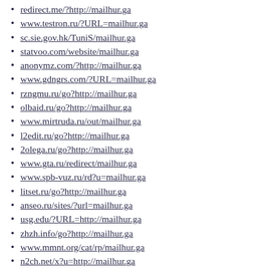redirect.me/?http://mailhur.ga
www.testron.ru/?URL=mailhur.ga
sc.sie.gov.hk/TuniS/mailhur.ga
statvoo.com/website/mailhur.ga
anonymz.com/?http://mailhur.ga
www.gdngrs.com/?URL=mailhur.ga
rzngmu.ru/go?http://mailhur.ga
olbaid.ru/go?http://mailhur.ga
www.mirtruda.ru/out/mailhur.ga
l2edit.ru/go?http://mailhur.ga
2olega.ru/go?http://mailhur.ga
www.gta.ru/redirect/mailhur.ga
www.spb-vuz.ru/rd?u=mailhur.ga
litset.ru/go?http://mailhur.ga
anseo.ru/sites/?url=mailhur.ga
usg.edu/?URL=http://mailhur.ga
zhzh.info/go?http://mailhur.ga
www.mmnt.org/cat/rp/mailhur.ga
n2ch.net/x?u=http://mailhur.ga